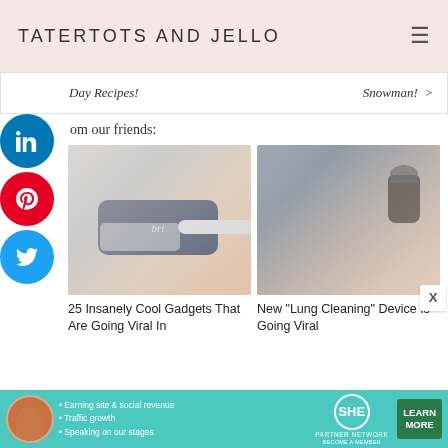TATERTOTS AND JELLO
Day Recipes!
Snowman! >
om our friends:
[Figure (photo): Hand holding a Bri toothbrush head with blue bristles and a white electric toothbrush handle]
[Figure (photo): Blonde woman drinking from a small dark glass bottle, with medication bottles in the background]
25 Insanely Cool Gadgets That Are Going Viral In
New "Lung Cleaning" Device Is Going Viral
[Figure (infographic): SHE Partner Network advertisement banner with avatar, bullet points (Earning site & social revenue, Traffic growth, Speaking on our stages), SHE logo, BECOME A MEMBER text, and LEARN MORE button]